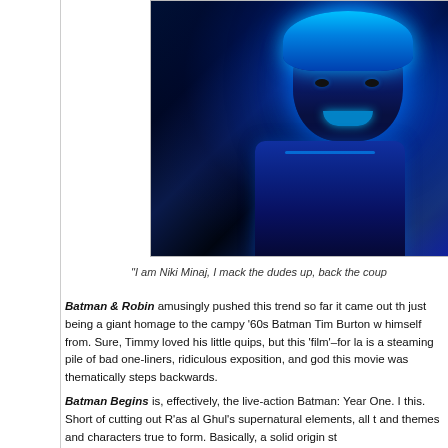[Figure (photo): Close-up photo of Mr. Freeze character from Batman & Robin, wearing a blue metallic suit and helmet, illuminated in blue light against a dark background.]
"I am Niki Minaj, I mack the dudes up, back the coup
Batman & Robin amusingly pushed this trend so far it came out th just being a giant homage to the campy '60s Batman Tim Burton w himself from. Sure, Timmy loved his little quips, but this 'film'–for la is a steaming pile of bad one-liners, ridiculous exposition, and god this movie was thematically steps backwards.
Batman Begins is, effectively, the live-action Batman: Year One. I this. Short of cutting out R'as al Ghul's supernatural elements, all t and themes and characters true to form. Basically, a solid origin st